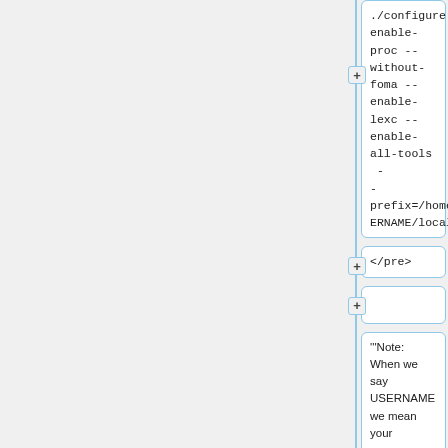./configure enable-proc --without-foma --enable-lexc --enable-all-tools --prefix=/home/USERNAME/local/
</pre>
'''Note: When we say USERNAME we mean your username, you need to replace it with your username, if you don't know what it is, you can find out by typing <code>whoami</